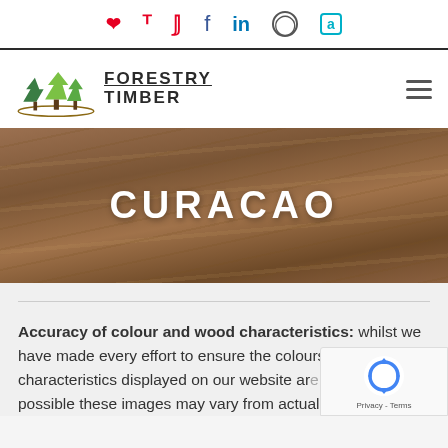Social icons: Pinterest, Facebook, LinkedIn, Instagram, Amazon
[Figure (logo): Forestry Timber logo with green trees illustration and brand name]
[Figure (photo): Wood grain texture banner with text CURACAO]
CURACAO
Accuracy of colour and wood characteristics: whilst we have made every effort to ensure the colours and wood characteristics displayed on our website are accurate as possible these images may vary from actual product.